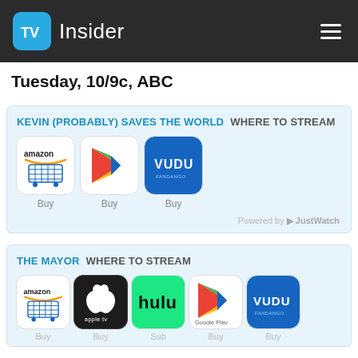TV Insider
Tuesday, 10/9c, ABC
KEVIN (PROBABLY) SAVES THE WORLD WHERE TO STREAM
[Figure (logo): Amazon Buy icon]
[Figure (logo): Google Play Buy icon]
[Figure (logo): VUDU Buy icon]
Powered by JustWatch
THE MAYOR WHERE TO STREAM
[Figure (logo): Amazon Buy icon]
[Figure (logo): Apple TV Buy icon]
[Figure (logo): Hulu Subscribe icon]
[Figure (logo): Google Play Buy icon]
[Figure (logo): VUDU Buy icon]